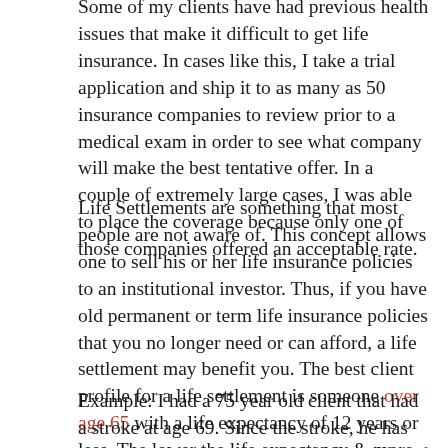Some of my clients have had previous health issues that make it difficult to get life insurance. In cases like this, I take a trial application and ship it to as many as 50 insurance companies to review prior to a medical exam in order to see what company will make the best tentative offer. In a couple of extremely large cases, I was able to place the coverage because only one of those companies offered an acceptable rate.
Life Settlements are something that most people are not aware of. This concept allows one to sell his or her life insurance policies to an institutional investor. Thus, if you have old permanent or term life insurance policies that you no longer need or can afford, a life settlement may benefit you. The best client profile for a life settlement is someone over age 65 with a life expectancy of 12 years or less. The lower the life expectancy & more cash value available, the greater the offer.
Example: I had a 75 year old client that had a stroke at age 69. Since the stroke, he has gotten to where he could play 9 holes of golf a day. He had a $300,000 term life insurance policy that